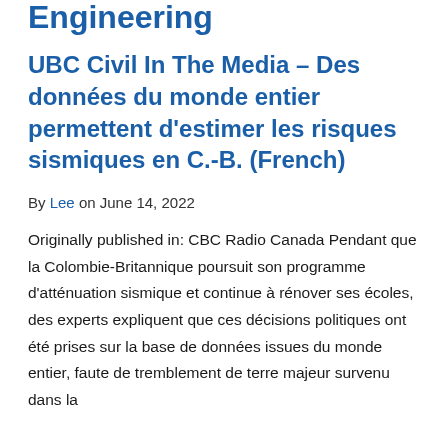Engineering
UBC Civil In The Media – Des données du monde entier permettent d'estimer les risques sismiques en C.-B. (French)
By Lee on June 14, 2022
Originally published in: CBC Radio Canada Pendant que la Colombie-Britannique poursuit son programme d'atténuation sismique et continue à rénover ses écoles, des experts expliquent que ces décisions politiques ont été prises sur la base de données issues du monde entier, faute de tremblement de terre majeur survenu dans la